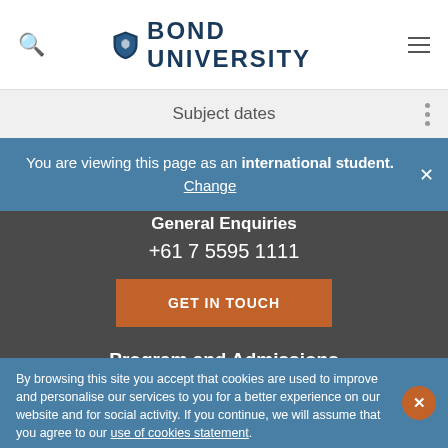Bond University
Subject dates
You are viewing this page as an international student. Change
General Enquiries
+61 7 5595 1111
GET IN TOUCH
Program and Admissions
Australian: 1800 074 074
International: +61 7 5595 1024
By browsing this site you accept that cookies are used to improve and personalise our services to you for a better experience on our website and for social activity. If you continue, we will assume that you agree to our use of cookies statement.